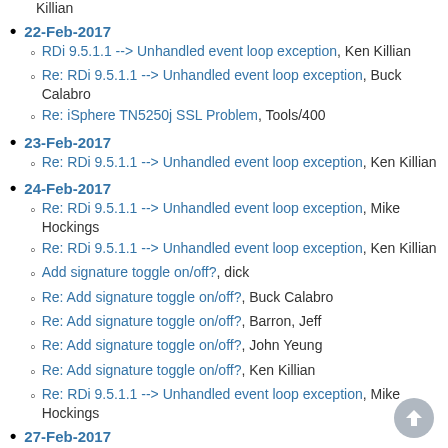Killian
22-Feb-2017
RDi 9.5.1.1 --> Unhandled event loop exception, Ken Killian
Re: RDi 9.5.1.1 --> Unhandled event loop exception, Buck Calabro
Re: iSphere TN5250j SSL Problem, Tools/400
23-Feb-2017
Re: RDi 9.5.1.1 --> Unhandled event loop exception, Ken Killian
24-Feb-2017
Re: RDi 9.5.1.1 --> Unhandled event loop exception, Mike Hockings
Re: RDi 9.5.1.1 --> Unhandled event loop exception, Ken Killian
Add signature toggle on/off?, dick
Re: Add signature toggle on/off?, Buck Calabro
Re: Add signature toggle on/off?, Barron, Jeff
Re: Add signature toggle on/off?, John Yeung
Re: Add signature toggle on/off?, Ken Killian
Re: RDi 9.5.1.1 --> Unhandled event loop exception, Mike Hockings
27-Feb-2017
Re: SQL Auto formatting, Stuart Rowe
Re: SQL Auto formatting, Eric Simpson
Re: SQL Auto formatting, Stuart Rowe
Re: SQL Auto formatting, Barbara Morris